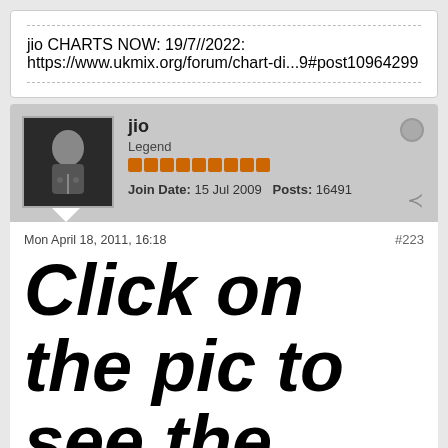jio CHARTS NOW: 19/7//2022: https://www.ukmix.org/forum/chart-di...9#post10964299
jio
Legend
Join Date: 15 Jul 2009   Posts: 16491
Mon April 18, 2011, 16:18
#223
Click on the pic to see the